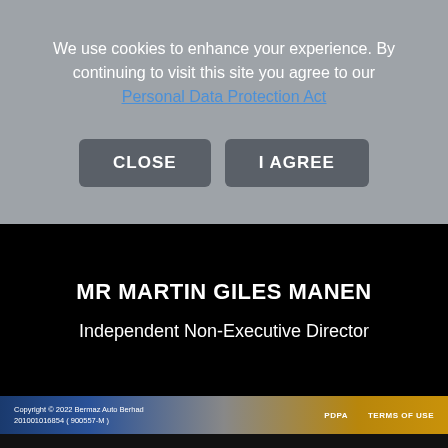We use cookies to enhance your experience. By continuing to visit this site you agree to our Personal Data Protection Act
CLOSE   I AGREE
MR MARTIN GILES MANEN
Independent Non-Executive Director
Copyright © 2022 Bermaz Auto Berhad 201001016854 ( 900557-M )   PDPA   TERMS OF USE